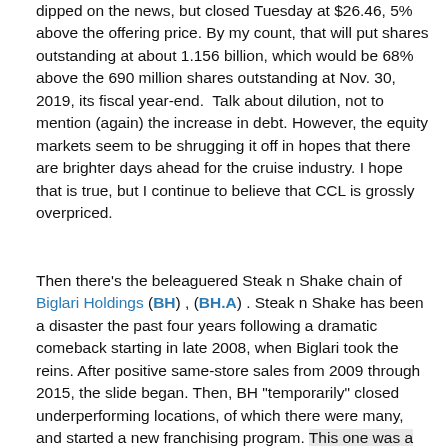dipped on the news, but closed Tuesday at $26.46, 5% above the offering price. By my count, that will put shares outstanding at about 1.156 billion, which would be 68% above the 690 million shares outstanding at Nov. 30, 2019, its fiscal year-end.  Talk about dilution, not to mention (again) the increase in debt. However, the equity markets seem to be shrugging it off in hopes that there are brighter days ahead for the cruise industry. I hope that is true, but I continue to believe that CCL is grossly overpriced.
Then there's the beleaguered Steak n Shake chain of Biglari Holdings (BH) , (BH.A) . Steak n Shake has been a disaster the past four years following a dramatic comeback starting in late 2008, when Biglari took the reins. After positive same-store sales from 2009 through 2015, the slide began. Then, BH "temporarily" closed underperforming locations, of which there were many, and started a new franchising program. This one was a real head-scratcher; Biglari began selling Steak n Shake franchises to "qualified" franchisees for $10,000, plus up to 15% of revenue and 50% of store